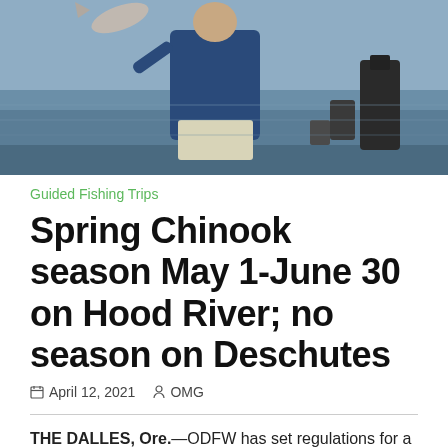[Figure (photo): Person on a fishing boat holding up a fish, with water visible in the background and boat equipment around them.]
Guided Fishing Trips
Spring Chinook season May 1-June 30 on Hood River; no season on Deschutes
April 12, 2021   OMG
THE DALLES, Ore.—ODFW has set regulations for a spring Chinook fishery on the Hood River:
Open for adult hatchery Chinook from May 1 through